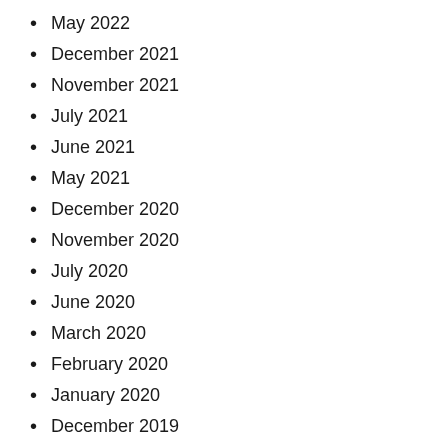May 2022
December 2021
November 2021
July 2021
June 2021
May 2021
December 2020
November 2020
July 2020
June 2020
March 2020
February 2020
January 2020
December 2019
May 2019
March 2019
December 2018
October 2018